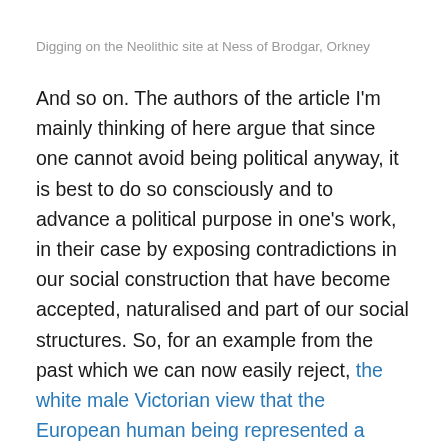Digging on the Neolithic site at Ness of Brodgar, Orkney
And so on. The authors of the article I'm mainly thinking of here argue that since one cannot avoid being political anyway, it is best to do so consciously and to advance a political purpose in one's work, in their case by exposing contradictions in our social construction that have become accepted, naturalised and part of our social structures. So, for an example from the past which we can now easily reject, the white male Victorian view that the European human being represented a higher standard of development than, for example, the African. It's harder to spot ourselves doing this now, though, even though I was already trying. With that in mind, rather than try and give an account of the scholarship here (it would be easier for